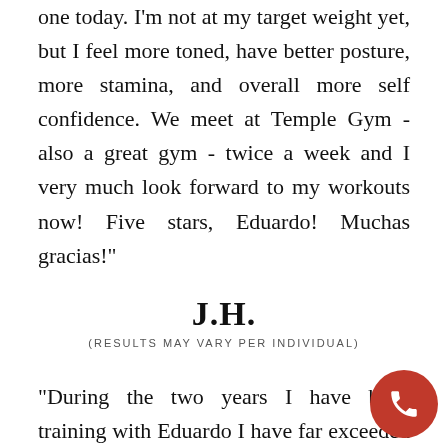one today. I'm not at my target weight yet, but I feel more toned, have better posture, more stamina, and overall more self confidence. We meet at Temple Gym - also a great gym - twice a week and I very much look forward to my workouts now! Five stars, Eduardo! Muchas gracias!"
J.H.
(RESULTS MAY VARY PER INDIVIDUAL)
"During the two years I have been training with Eduardo I have far exceeded my expectations and anything I ever thought I was capable of. My body